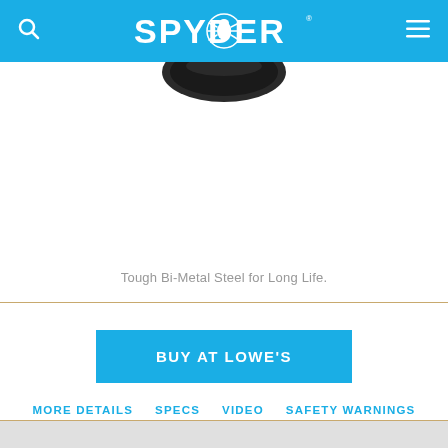SPYDER
[Figure (photo): Partial view of a circular saw blade or similar tool product, showing the dark metallic edge at the bottom of the product image area]
Tough Bi-Metal Steel for Long Life.
BUY AT LOWE'S
MORE DETAILS  SPECS  VIDEO  SAFETY WARNINGS